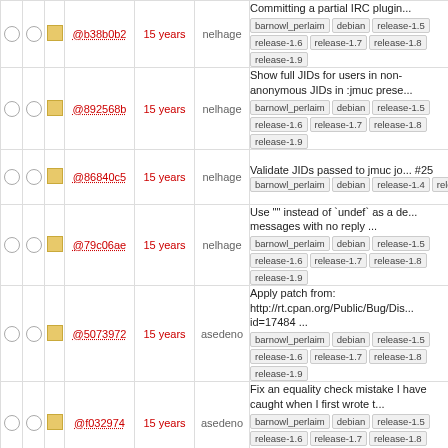|  |  |  | commit | age | author | description |
| --- | --- | --- | --- | --- | --- | --- |
| ○ ○ | □ | @b38b0b2 | 15 years | nelhage | Committing a partial IRC plugin... barnowl_perlaim debian release-1.5 release-1.6 release-1.7 release-1.8 release-1.9 |
| ○ ○ | □ | @892568b | 15 years | nelhage | Show full JIDs for users in non-anonymous JIDs in :jmuc prese... barnowl_perlaim debian release-1.5 release-1.6 release-1.7 release-1.8 release-1.9 |
| ○ ○ | □ | @86840c5 | 15 years | nelhage | Validate JIDs passed to jmuc jo... #25 barnowl_perlaim debian release-1.4 release-1.5 release-1.6 release-1.7 release-1.8 release-1.9 |
| ○ ○ | □ | @79c06ae | 15 years | nelhage | Use "" instead of `undef` as a de... messages with no reply ... barnowl_perlaim debian release-1.5 release-1.6 release-1.7 release-1.8 release-1.9 |
| ○ ○ | □ | @5073972 | 15 years | asedeno | Apply patch from: http://rt.cpan.org/Public/Bug/Dis... id=17484 ... barnowl_perlaim debian release-1.5 release-1.6 release-1.7 release-1.8 release-1.9 |
| ○ ○ | □ | @f032974 | 15 years | asedeno | Fix an equality check mistake I have caught when I first wrote t... barnowl_perlaim debian release-1.5 release-1.6 release-1.7 release-1.8 release-1.9 |
| ○ ○ | □ | @f1589b5 | 15 years | asedeno | Adding 3 variables for the Jabb... * ... barnowl_perlaim debian release-1.4 release-1.5 release-1.6 release-1.7 release-1.8 release-1.9 |